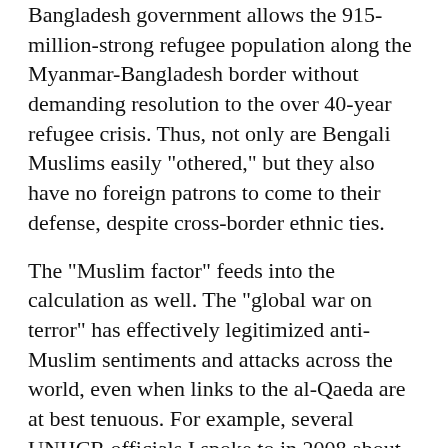Bangladesh government allows the 915-million-strong refugee population along the Myanmar-Bangladesh border without demanding resolution to the over 40-year refugee crisis. Thus, not only are Bengali Muslims easily "othered," but they also have no foreign patrons to come to their defense, despite cross-border ethnic ties.
The "Muslim factor" feeds into the calculation as well. The "global war on terror" has effectively legitimized anti-Muslim sentiments and attacks across the world, even when links to the al-Qaeda are at best tenuous. For example, several UNHCR officials I spoke to in 2008 about resettlement of the Rohingya had categorically said that their religion and "ties to terrorism" make them unlikely candidates for resettlement in the developed world. They saw resettlement in Bangladesh as the only durable solution to the Rohingya refugee crisis.
In India, the Hindu right traditionally used anti-Muslim sentiments as a rallying force, but in